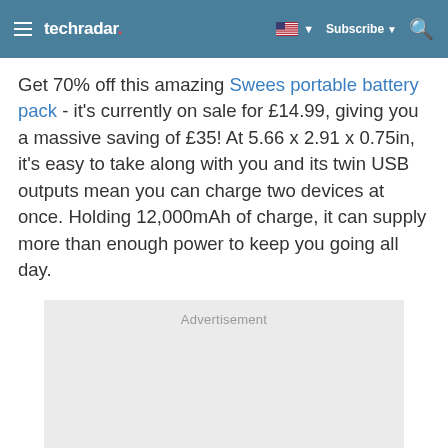techradar
Get 70% off this amazing Swees portable battery pack - it's currently on sale for £14.99, giving you a massive saving of £35! At 5.66 x 2.91 x 0.75in, it's easy to take along with you and its twin USB outputs mean you can charge two devices at once. Holding 12,000mAh of charge, it can supply more than enough power to keep you going all day.
[Figure (other): Advertisement placeholder box]